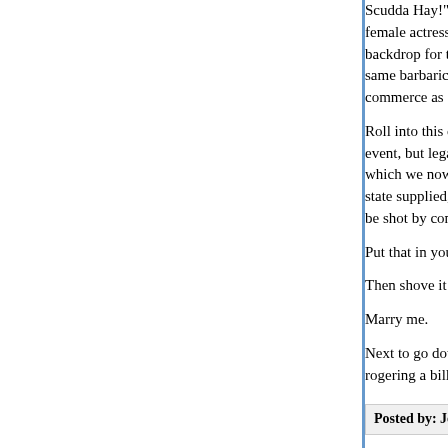Scudda Hay!", and now male republican trash are female actresses that the movie industry might bo backdrop for their productions, wondering how it i same barbaric cracker birth control methods acro commerce as a weapon like 'at.
Roll into this comment that I personally would pre event, but legal nevertheless, with certain restricti which we now have to varying degrees, but not fo state supplied, for surviving fetuses well into their be shot by conservatives well before that for exhil
Put that in your pipe, conservatives, and light the
Then shove it up your virgin as&holes, and we'll c
Marry me.
Next to go down the legal drain, all birth control m rogering a billy goat to maintain the proprieties.
Posted by: John D. Thullen | May 16, 2019 at 11:14 AM
Brett Kavanaugh is preparing a Valentine for Chri another gang roll in the hay, once the legal specif